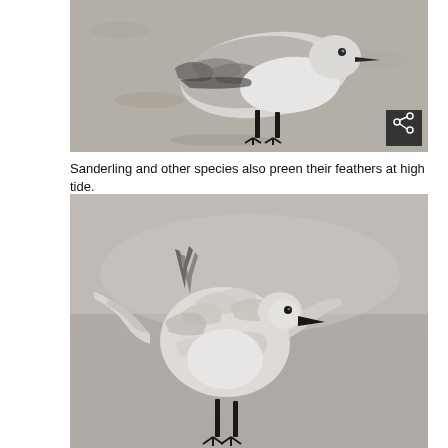[Figure (photo): Black and white photograph of a Sanderling bird preening its feathers on sandy beach, viewed from side. Bird has grey/white plumage and black legs. A share icon button visible in bottom right corner.]
Sanderling and other species also preen their feathers at high tide.
[Figure (photo): Black and white photograph of a Sanderling bird with wings spread and feathers ruffled, standing on black legs against a blurred grey background. Bird appears to be shaking or preening mid-motion.]